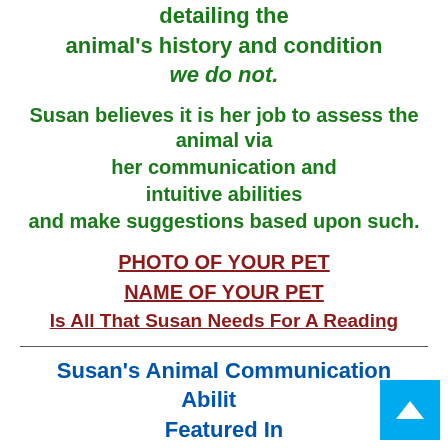detailing the animal's history and condition we do not.
Susan believes it is her job to assess the animal via her communication and intuitive abilities and make suggestions based upon such.
PHOTO OF YOUR PET
NAME OF YOUR PET
Is All That Susan Needs For A Reading
Susan's Animal Communication Abilities Featured In